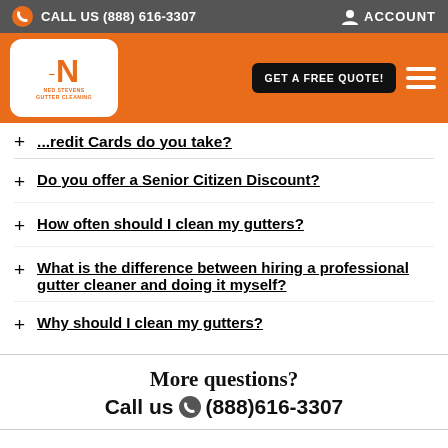CALL US (888) 616-3307  ACCOUNT
[Figure (logo): Ned Stevens Gutter Cleaning logo with orange N on white rounded square, plus GET A FREE QUOTE button and hamburger menu on orange nav bar]
Credit Cards do you take?
Do you offer a Senior Citizen Discount?
How often should I clean my gutters?
What is the difference between hiring a professional gutter cleaner and doing it myself?
Why should I clean my gutters?
More questions?
Call us (888)616-3307